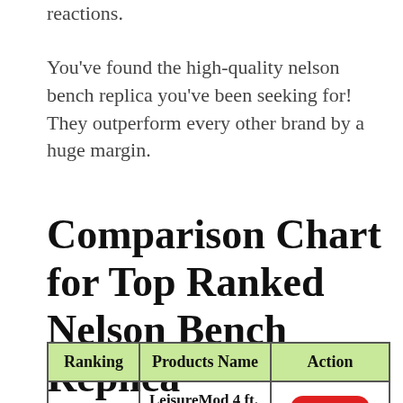reactions.
You've found the high-quality nelson bench replica you've been seeking for! They outperform every other brand by a huge margin.
Comparison Chart for Top Ranked Nelson Bench Replica
| Ranking | Products Name | Action |
| --- | --- | --- |
| 01 | LeisureMod 4 ft. Mid-Century Platform Bench in Natural Wood | Check Price |